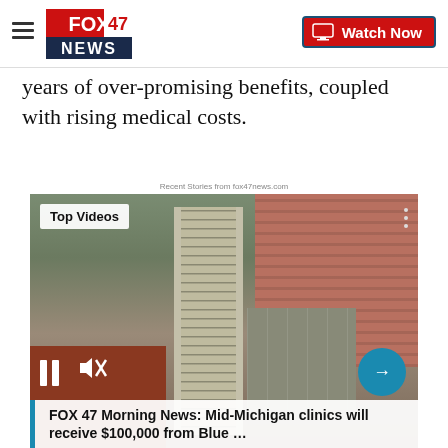FOX 47 NEWS | Watch Now
years of over-promising benefits, coupled with rising medical costs.
Recent Stories from fox47news.com
[Figure (screenshot): FOX 47 video player showing aerial city view with 'Top Videos' label, playback controls, and caption: 'FOX 47 Morning News: Mid-Michigan clinics will receive $100,000 from Blue ...']